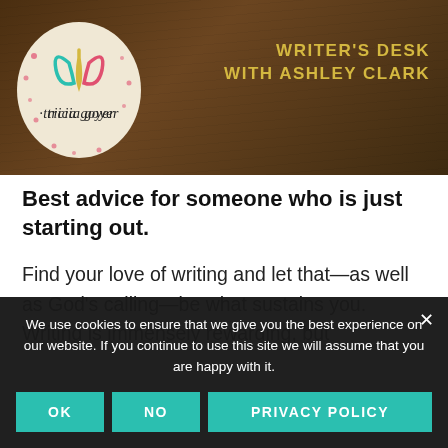[Figure (photo): Banner image with wooden desk background. On the left is a circular logo with leaf/petal design in teal, pink, and yellow colors with 'tricia goyer' written in script. On the right, text reads 'WRITER'S DESK WITH ASHLEY CLARK' in bold gold/yellow uppercase letters.]
Best advice for someone who is just starting out.
Find your love of writing and let that—as well as God's calling—be what sustains you. Writing is immensely rewarding, but
We use cookies to ensure that we give you the best experience on our website. If you continue to use this site we will assume that you are happy with it.